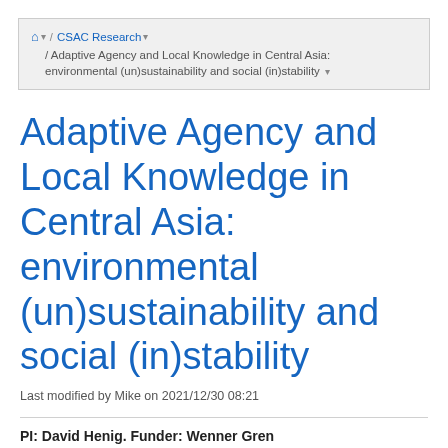🏠 / CSAC Research / Adaptive Agency and Local Knowledge in Central Asia: environmental (un)sustainability and social (in)stability
Adaptive Agency and Local Knowledge in Central Asia: environmental (un)sustainability and social (in)stability
Last modified by Mike on 2021/12/30 08:21
PI: David Henig. Funder: Wenner Gren
Proposals in progress: David Henig and Michael Fischer